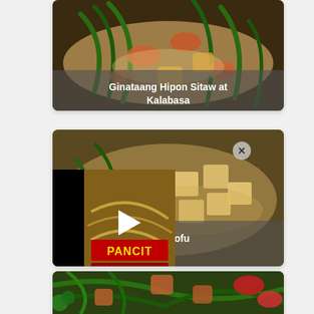[Figure (photo): Food photo: Ginataang Hipon Sitaw at Kalabasa - shrimp, green beans, and squash in coconut milk]
Ginataang Hipon Sitaw at
Kalabasa
[Figure (photo): Food photo: dish with tofu, possibly Ginataang with Tofu, with a video overlay showing Pancit and a close/X button, partially obscured]
with Tofu
ay
[Figure (photo): Food photo: colorful stir-fry with green beans, red peppers, and meat pieces]